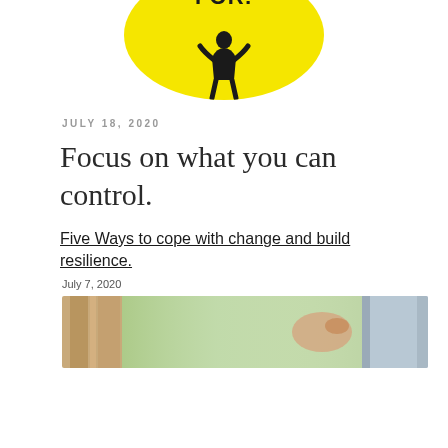[Figure (photo): Partial yellow circle with black silhouette figure and text 'FOR!' visible at top of page]
JULY 18, 2020
Focus on what you can control.
Five Ways to cope with change and build resilience.
July 7, 2020
[Figure (photo): Wide horizontal photo showing a person near a doorway with trees visible outside in sunlight]